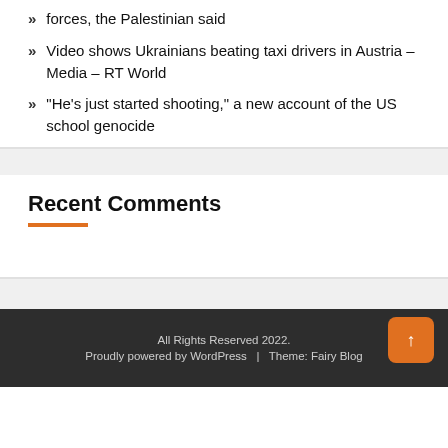forces, the Palestinian said
Video shows Ukrainians beating taxi drivers in Austria – Media – RT World
“He’s just started shooting,” a new account of the US school genocide
Recent Comments
All Rights Reserved 2022.
Proudly powered by WordPress  |  Theme: Fairy Blog